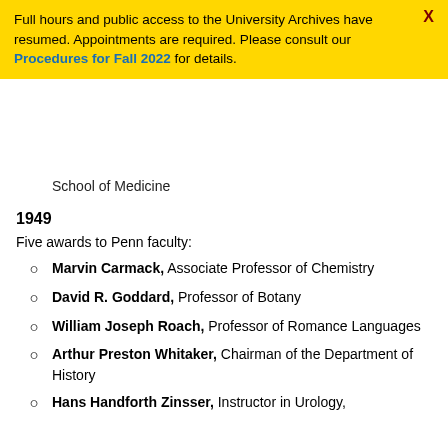Full hours and public access to the University Archives have resumed. Appointments are required. Please consult our Procedures for Fall 2022 for details.
School of Medicine
1949
Five awards to Penn faculty:
Marvin Carmack, Associate Professor of Chemistry
David R. Goddard, Professor of Botany
William Joseph Roach, Professor of Romance Languages
Arthur Preston Whitaker, Chairman of the Department of History
Hans Handforth Zinsser, Instructor in Urology,